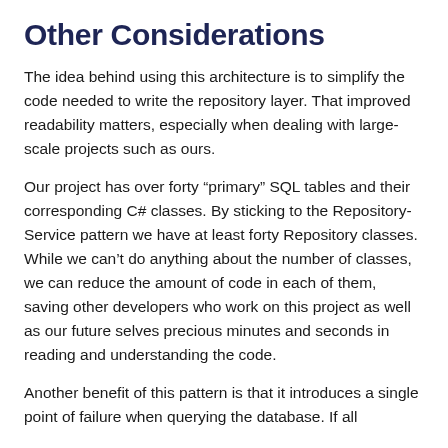Other Considerations
The idea behind using this architecture is to simplify the code needed to write the repository layer. That improved readability matters, especially when dealing with large-scale projects such as ours.
Our project has over forty "primary" SQL tables and their corresponding C# classes. By sticking to the Repository-Service pattern we have at least forty Repository classes. While we can't do anything about the number of classes, we can reduce the amount of code in each of them, saving other developers who work on this project as well as our future selves precious minutes and seconds in reading and understanding the code.
Another benefit of this pattern is that it introduces a single point of failure when querying the database. If all